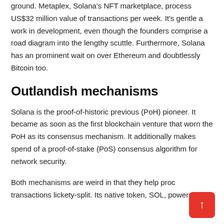ground. Metaplex, Solana's NFT marketplace, process US$32 million value of transactions per week. It's gentle a work in development, even though the founders comprise a road diagram into the lengthy scuttle. Furthermore, Solana has an prominent wait on over Ethereum and doubtlessly Bitcoin too.
Outlandish mechanisms
Solana is the proof-of-historic previous (PoH) pioneer. It became as soon as the first blockchain venture that worn the PoH as its consensus mechanism. It additionally makes spend of a proof-of-stake (PoS) consensus algorithm for network security.
Both mechanisms are weird in that they help proc transactions lickety-split. Its native token, SOL, powers